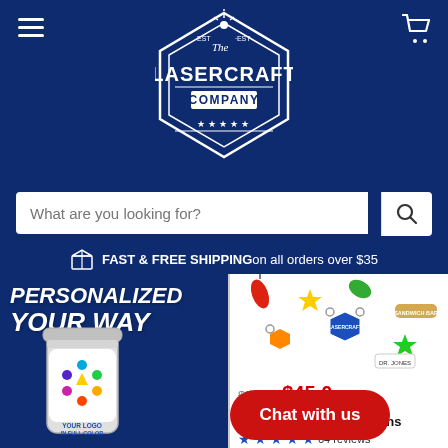The Lasercraft Company
What are you looking for?
FAST & FREE SHIPPING on all orders over $35
[Figure (screenshot): Left product banner: 'PERSONALIZED YOUR WAY' with a white tumbler mug featuring a colorful logo, text 'YOUR LOGO IN FULL COLOR' in blue]
[Figure (photo): Right product: multiple colorful custom acrylic keychains scattered on white background, product listing shows $50.00 crossed out, $45.00 sale price, Custom Acrylic Keychains, 64 reviews]
Chat with us